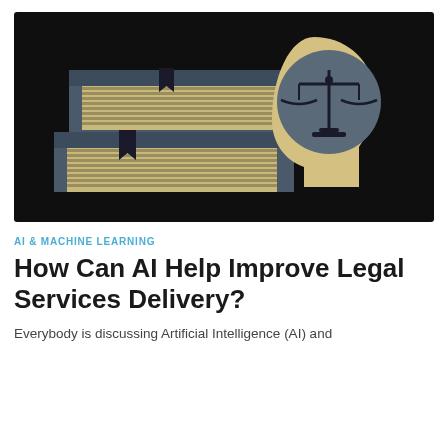[Figure (illustration): Illustration on black background showing a stack of two legal books (dark grey/slate with cream striped covers and black bookmark ribbons) on the left, and on the right a profile silhouette of a human head in cream/beige color with a dark grey circular brain area containing a scales of justice icon (balance scales in dark outline).]
AI & MACHINE LEARNING
How Can AI Help Improve Legal Services Delivery?
Everybody is discussing Artificial Intelligence (AI) and